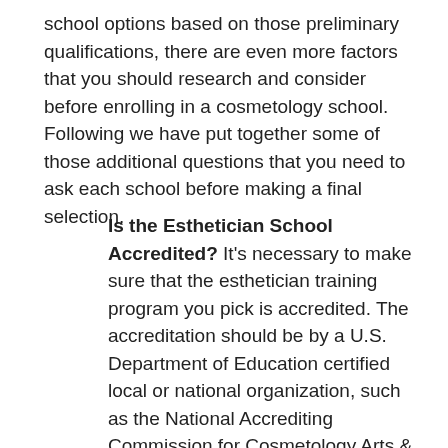school options based on those preliminary qualifications, there are even more factors that you should research and consider before enrolling in a cosmetology school. Following we have put together some of those additional questions that you need to ask each school before making a final selection.
Is the Esthetician School Accredited? It's necessary to make sure that the esthetician training program you pick is accredited. The accreditation should be by a U.S. Department of Education certified local or national organization, such as the National Accrediting Commission for Cosmetology Arts & Sciences (NACCAS). Programs accredited by the NACCAS must comply with their high standards assuring a superior curriculum and education. Accreditation can also be important for obtaining student loans or financial aid, which often are not offered for non- accredited schools. It's also a criteria for licensing in several states that the